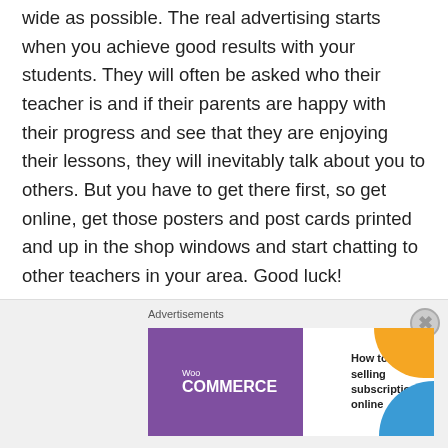wide as possible. The real advertising starts when you achieve good results with your students. They will often be asked who their teacher is and if their parents are happy with their progress and see that they are enjoying their lessons, they will inevitably talk about you to others. But you have to get there first, so get online, get those posters and post cards printed and up in the shop windows and start chatting to other teachers in your area. Good luck!
[Figure (other): WooCommerce advertisement banner with purple left panel showing WooCommerce logo and teal arrow, right panel with text 'How to start selling subscriptions online', orange and blue decorative shapes in corner]